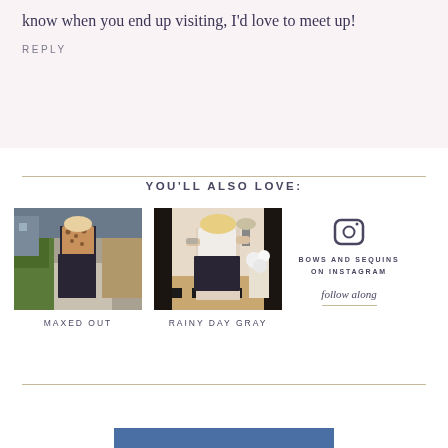know when you end up visiting, I'd love to meet up!
REPLY
YOU'LL ALSO LOVE:
[Figure (photo): Photo of woman in leopard print top and dark maxi skirt standing on a path outdoors]
MAXED OUT
[Figure (photo): Mirror selfie of woman in white top and black skirt]
RAINY DAY GRAY
[Figure (illustration): Instagram follow box with camera icon, BOWS AND SEQUINS ON INSTAGRAM text and follow along link]